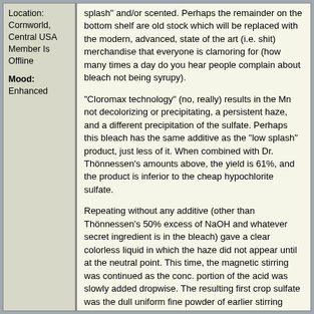Location: Cornworld, Central USA Member Is Offline
Mood: Enhanced
splash" and/or scented. Perhaps the remainder on the bottom shelf are old stock which will be replaced with the modern, advanced, state of the art (i.e. shit) merchandise that everyone is clamoring for (how many times a day do you hear people complain about bleach not being syrupy).
"Cloromax technology" (no, really) results in the Mn not decolorizing or precipitating, a persistent haze, and a different precipitation of the sulfate. Perhaps this bleach has the same additive as the "low splash" product, just less of it. When combined with Dr. Thönnessen's amounts above, the yield is 61%, and the product is inferior to the cheap hypochlorite sulfate.
Repeating without any additive (other than Thönnessen's 50% excess of NaOH and whatever secret ingredient is in the bleach) gave a clear colorless liquid in which the haze did not appear until at the neutral point. This time, the magnetic stirring was continued as the conc. portion of the acid was slowly added dropwise. The resulting first crop sulfate was the dull uniform fine powder of earlier stirring trials, yet this material was of quite good purity. Unfortunately, 22% of the total was in the second crop, which had much more Na (and no organic residue) in it. There was none of the gas which always evolved from the sulfate in contact with the mother liquor when using Mn. 64.6%.
Sodium bisulfate would have been tested if I or the stores had the prill in stock.